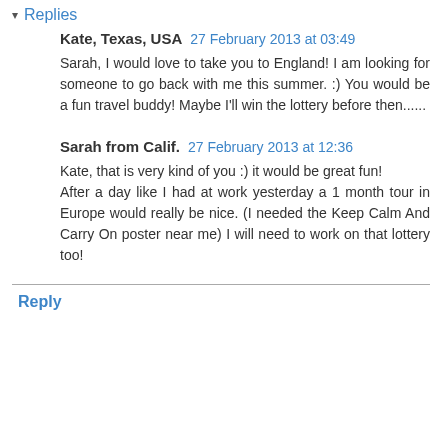▾ Replies
Kate, Texas, USA  27 February 2013 at 03:49
Sarah, I would love to take you to England! I am looking for someone to go back with me this summer. :) You would be a fun travel buddy! Maybe I'll win the lottery before then......
Sarah from Calif.  27 February 2013 at 12:36
Kate, that is very kind of you :) it would be great fun!
After a day like I had at work yesterday a 1 month tour in Europe would really be nice. (I needed the Keep Calm And Carry On poster near me) I will need to work on that lottery too!
Reply